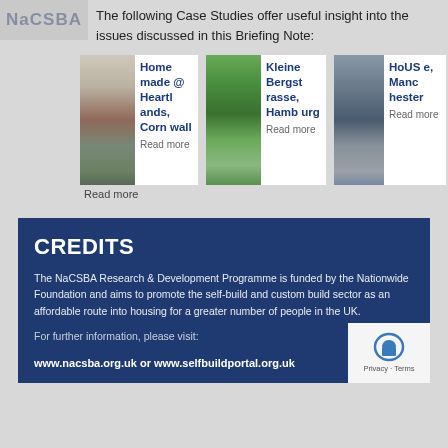The following Case Studies offer useful insight into the issues discussed in this Briefing Note:
[Figure (photo): Three case study cards side by side: 1) Home made @ Heartlands, Cornwall with a photo of a modern house and Read more link. 2) Kleine Bergstrasse, Hamburg with green ivy-covered building photo and Read more link. 3) HoUSe, Manchester with dark brick building photo and Read more link.]
CREDITS
The NaCSBA Research & Development Programme is funded by the Nationwide Foundation and aims to promote the self-build and custom build sector as an affordable route into housing for a greater number of people in the UK.
For further information, please visit:
www.nacsba.org.uk or www.selfbuildportal.org.uk